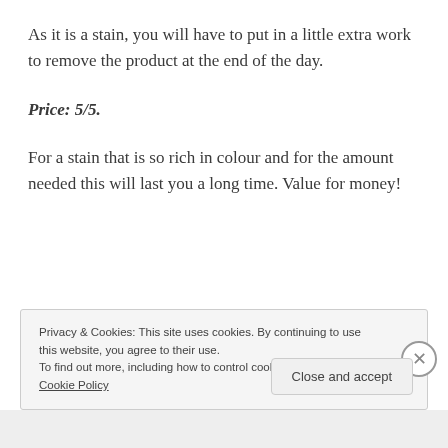As it is a stain, you will have to put in a little extra work to remove the product at the end of the day.
Price: 5/5.
For a stain that is so rich in colour and for the amount needed this will last you a long time. Value for money!
Privacy & Cookies: This site uses cookies. By continuing to use this website, you agree to their use.
To find out more, including how to control cookies, see here: Cookie Policy